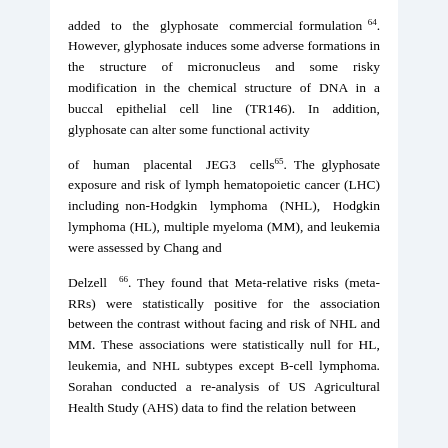added to the glyphosate commercial formulation 64. However, glyphosate induces some adverse formations in the structure of micronucleus and some risky modification in the chemical structure of DNA in a buccal epithelial cell line (TR146). In addition, glyphosate can alter some functional activity of human placental JEG3 cells65. The glyphosate exposure and risk of lymph hematopoietic cancer (LHC) including non-Hodgkin lymphoma (NHL), Hodgkin lymphoma (HL), multiple myeloma (MM), and leukemia were assessed by Chang and Delzell 66. They found that Meta-relative risks (meta-RRs) were statistically positive for the association between the contrast without facing and risk of NHL and MM. These associations were statistically null for HL, leukemia, and NHL subtypes except B-cell lymphoma. Sorahan conducted a re-analysis of US Agricultural Health Study (AHS) data to find the relation between